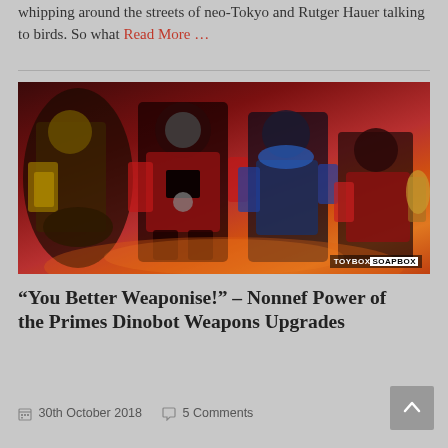whipping around the streets of neo-Tokyo and Rutger Hauer talking to birds. So what Read More …
[Figure (photo): Group of Transformers action figures (Dinobots) in red and black colors against a dark reddish background, with TOYBOX|SOAPBOX watermark in the bottom right corner.]
“You Better Weaponise!” – Nonnef Power of the Primes Dinobot Weapons Upgrades
30th October 2018  5 Comments